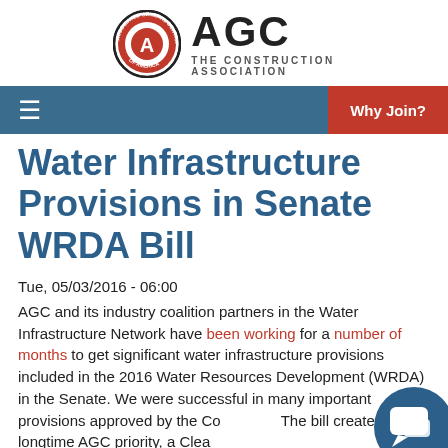AGC THE CONSTRUCTION ASSOCIATION
Water Infrastructure Provisions in Senate WRDA Bill
Tue, 05/03/2016 - 06:00
AGC and its industry coalition partners in the Water Infrastructure Network have been working for a number of months to get significant water infrastructure provisions included in the 2016 Water Resources Development (WRDA) in the Senate. We were successful in many important provisions approved by the Co... The bill creates a longtime AGC priority, a Clear...